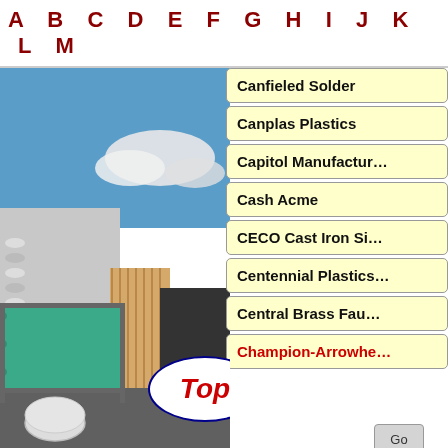A B C D E F G H I J K L M
[Figure (photo): Outdoor lumber and pipe yard with stacks of white PVC pipes and green pipes under a blue sky with clouds. A 'Top' oval badge overlaid on the photo.]
Canfieled Solder
Canplas Plastics
Capitol Manufacturing
Cash Acme
CECO Cast Iron Sink
Centennial Plastics
Central Brass Faucets
Champion-Arrowhead